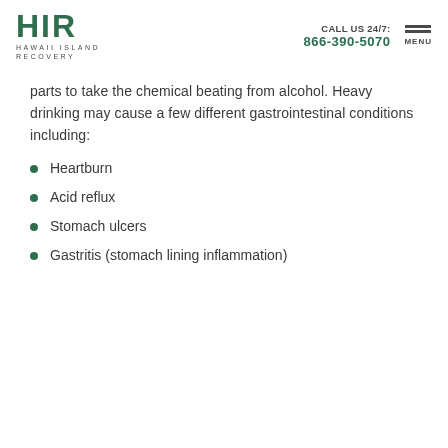HIR HAWAII ISLAND RECOVERY | CALL US 24/7: 866-390-5070 | MENU
parts to take the chemical beating from alcohol. Heavy drinking may cause a few different gastrointestinal conditions including:
Heartburn
Acid reflux
Stomach ulcers
Gastritis (stomach lining inflammation)